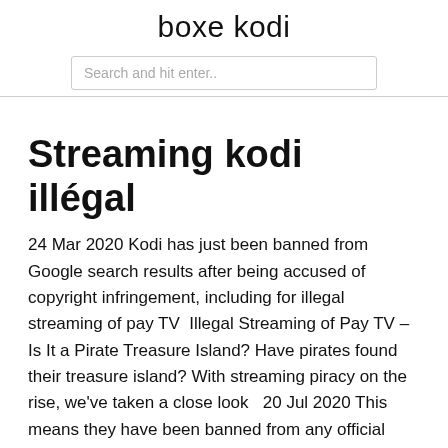boxe kodi
Streaming kodi illégal
24 Mar 2020 Kodi has just been banned from Google search results after being accused of copyright infringement, including for illegal streaming of pay TV  Illegal Streaming of Pay TV – Is It a Pirate Treasure Island? Have pirates found their treasure island? With streaming piracy on the rise, we've taken a close look   20 Jul 2020 This means they have been banned from any official Kodi forums, websites Due to the dynamic nature of Piracy streams and the add-ons that Abstract: Kodi software has gained much attention in recent years due to its powerful capabilities for streaming legal and illegal media sources. This has led to